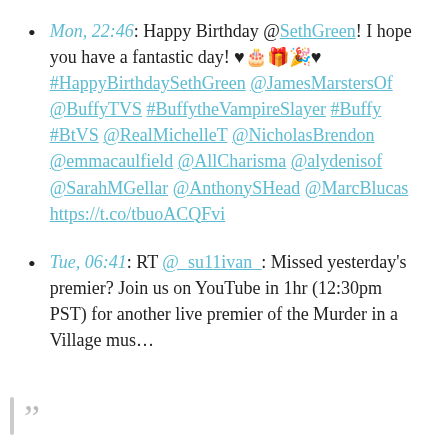Mon, 22:46: Happy Birthday @SethGreen! I hope you have a fantastic day! ♥🎂🎁🎉♥ #HappyBirthdaySethGreen @JamesMarstersOf @BuffyTVS #BuffytheVampireSlayer #Buffy #BtVS @RealMichelleT @NicholasBrendon @emmacaulfield @AllCharisma @alydenisof @SarahMGellar @AnthonySHead @MarcBlucas https://t.co/tbuoACQFvi
Tue, 06:41: RT @_su11ivan_: Missed yesterday's premier? Join us on YouTube in 1hr (12:30pm PST) for another live premier of the Murder in a Village mus…